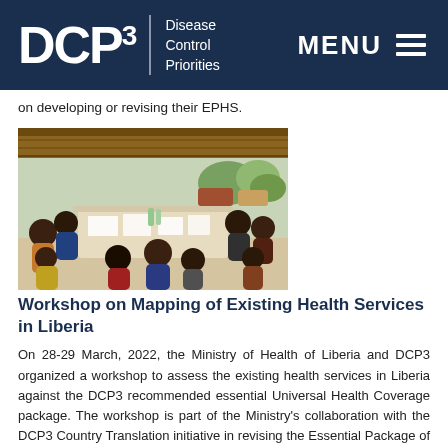DCP3 | Disease Control Priorities — MENU
on developing or revising their EPHS.
[Figure (photo): Group of people seated around tables at an outdoor covered workshop venue in Liberia, reviewing documents and papers together.]
Workshop on Mapping of Existing Health Services in Liberia
On 28-29 March, 2022, the Ministry of Health of Liberia and DCP3 organized a workshop to assess the existing health services in Liberia against the DCP3 recommended essential Universal Health Coverage package. The workshop is part of the Ministry's collaboration with the DCP3 Country Translation initiative in revising the Essential Package of Health Services (EPHS) in line with population health needs and available financial resources. The outcome of this exercise will inform the prioritization process for choosing and optimizing the